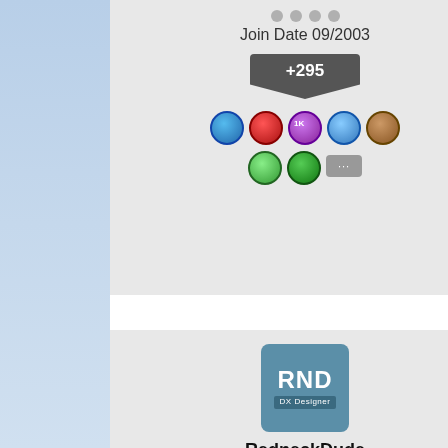[Figure (screenshot): Top partial user card showing dots, Join Date 09/2003, +295 reputation shield, and badge icons]
Join Date 09/2003
+295
[Figure (screenshot): Second reply card: RND avatar (DX Designer), username RedneckDude, Join Date 04/2009, +1980 reputation, badge icons, Reply #2 September 4, 2012 7:, Well, that helps, Thanks!!!  I w]
RedneckDude
Join Date 04/2009
+1980
Reply #2     September 4, 2012 7:
Well, that helps, Thanks!!!   I w
Reply #3     September 4, 2012 7:
[Figure (screenshot): Third reply partial: phoenix avatar, Reply #3 September 4, 2012 7:]